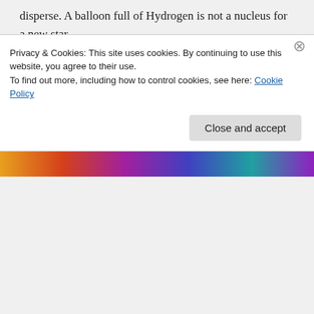disperse. A balloon full of Hydrogen is not a nucleus for a new star.
★ Like
👍 3 👎 20 ℹ Rate This
Fallacy Man on March 1, 2017 at 15:06
You're not making any
Privacy & Cookies: This site uses cookies. By continuing to use this website, you agree to their use. To find out more, including how to control cookies, see here: Cookie Policy